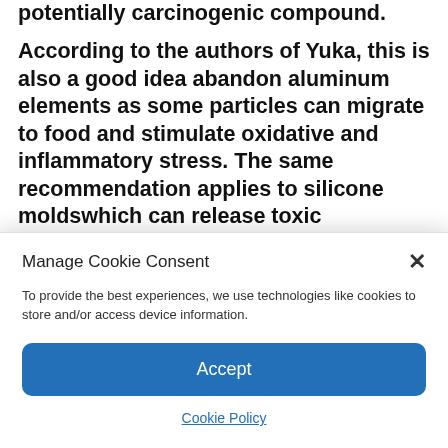potentially carcinogenic compound.
According to the authors of Yuka, this is also a good idea abandon aluminum elements as some particles can migrate to food and stimulate oxidative and inflammatory stress. The same recommendation applies to silicone moldswhich can release toxic substances into the oven.
Manage Cookie Consent
To provide the best experiences, we use technologies like cookies to store and/or access device information.
Accept
Cookie Policy